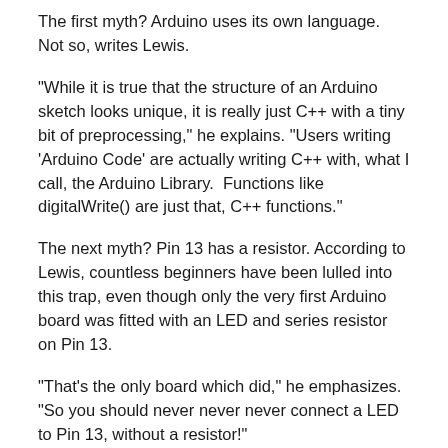The first myth? Arduino uses its own language. Not so, writes Lewis.
"While it is true that the structure of an Arduino sketch looks unique, it is really just C++ with a tiny bit of preprocessing," he explains. "Users writing 'Arduino Code' are actually writing C++ with, what I call, the Arduino Library.  Functions like digitalWrite() are just that, C++ functions."
The next myth? Pin 13 has a resistor. According to Lewis, countless beginners have been lulled into this trap, even though only the very first Arduino board was fitted with an LED and series resistor on Pin 13.
"That's the only board which did," he emphasizes. "So you should never never never connect a LED to Pin 13, without a resistor!"
Myth number three revolves around the mistaken notion that